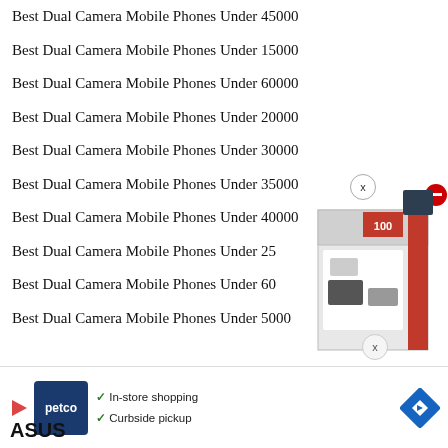Best Dual Camera Mobile Phones Under 45000
Best Dual Camera Mobile Phones Under 15000
Best Dual Camera Mobile Phones Under 60000
Best Dual Camera Mobile Phones Under 20000
Best Dual Camera Mobile Phones Under 30000
Best Dual Camera Mobile Phones Under 35000
Best Dual Camera Mobile Phones Under 40000
Best Dual Camera Mobile Phones Under 25000
Best Dual Camera Mobile Phones Under 60000
Best Dual Camera Mobile Phones Under 5000
[Figure (screenshot): Advertisement overlay showing Petco logo with checkmarks for In-store shopping and Curbside pickup, a navigation arrow icon, a product box image with red minus button, and ASUS text at bottom left]